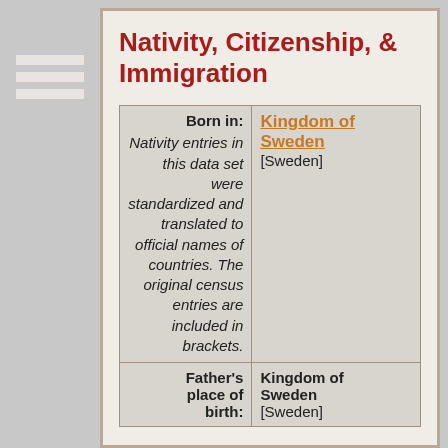Nativity, Citizenship, & Immigration
| Field | Value |
| --- | --- |
| Born in:
Nativity entries in this data set were standardized and translated to official names of countries. The original census entries are included in brackets. | Kingdom of Sweden
[Sweden] |
| Father's place of birth: | Kingdom of Sweden
[Sweden] |